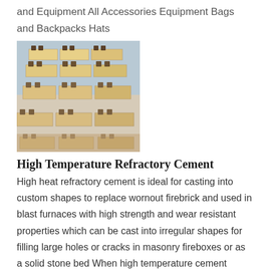and Equipment All Accessories Equipment Bags and Backpacks Hats
[Figure (photo): Stacked firebricks with slots, light tan/beige color, arranged in rows]
High Temperature Refractory Cement
High heat refractory cement is ideal for casting into custom shapes to replace wornout firebrick and used in blast furnaces with high strength and wear resistant properties which can be cast into irregular shapes for filling large holes or cracks in masonry fireboxes or as a solid stone bed When high temperature cement refractory is mixed
[Figure (photo): Brown/tan colored refractory cement material, partially visible at bottom of page]